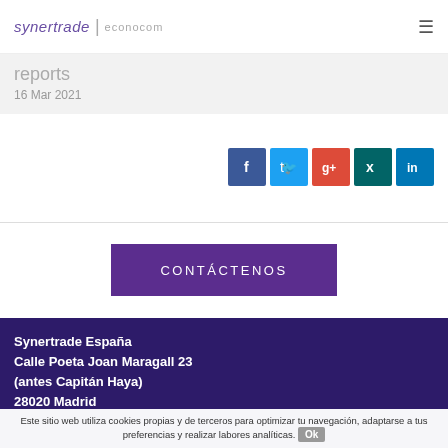synertrade | econocom
reports
16 Mar 2021
[Figure (infographic): Social share icons: Facebook, Twitter, Google+, Xing, LinkedIn]
CONTÁCTENOS
Synertrade España
Calle Poeta Joan Maragall 23
(antes Capitán Haya)
28020 Madrid
Este sitio web utiliza cookies propias y de terceros para optimizar tu navegación, adaptarse a tus preferencias y realizar labores analíticas.